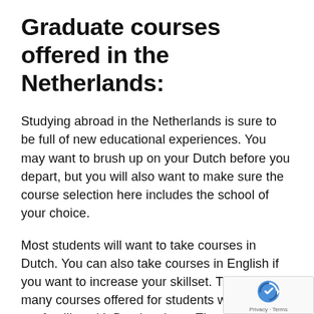Graduate courses offered in the Netherlands:
Studying abroad in the Netherlands is sure to be full of new educational experiences. You may want to brush up on your Dutch before you depart, but you will also want to make sure the course selection here includes the school of your choice.
Most students will want to take courses in Dutch. You can also take courses in English if you want to increase your skillset. There are many courses offered for students who want to get familiar with Dutch culture. The people here are known for their amazing architecture, natural beauty, and vibrant